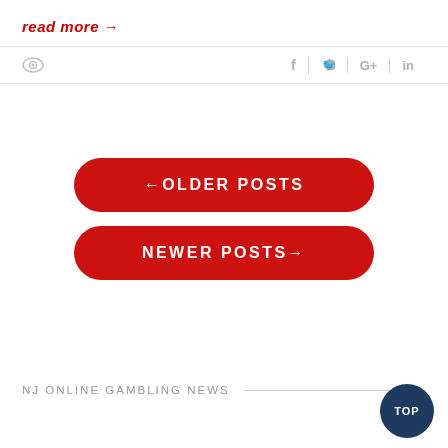read more →
[Figure (other): Social sharing bar with eye/view icon on left and social media icons (f, Twitter bird, G+, in) on right separated by vertical dividers]
[Figure (other): Red rounded button with left arrow and text OLDER POSTS]
[Figure (other): Red rounded button with text NEWER POSTS and right arrow]
NJ ONLINE GAMBLING NEWS
[Figure (other): Dark blue circular TOP button in bottom right corner]